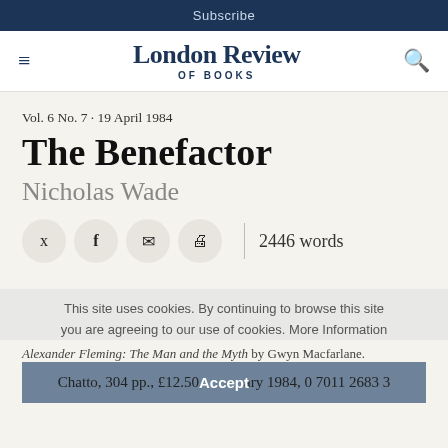Subscribe
London Review of Books
Vol. 6 No. 7 · 19 April 1984
The Benefactor
Nicholas Wade
2446 words
This site uses cookies. By continuing to browse this site you are agreeing to our use of cookies. More Information
Alexander Fleming: The Man and the Myth by Gwyn Macfarlane.
Chatto, 304 pp., £12.50, January 1984, 0 7011 2683 3